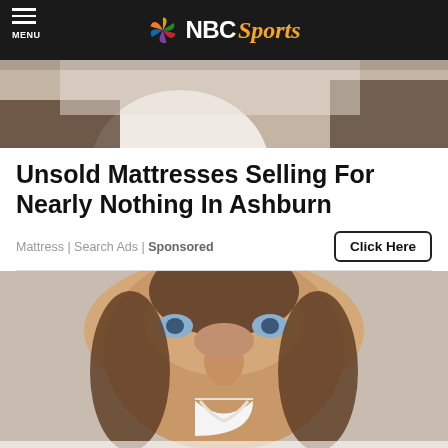NBC Sports
[Figure (photo): Partial photo of person at top of page, cropped]
Unsold Mattresses Selling For Nearly Nothing In Ashburn
Mattress | Search Ads | Sponsored
[Figure (photo): Close-up smiling face of a man with medium-length hair]